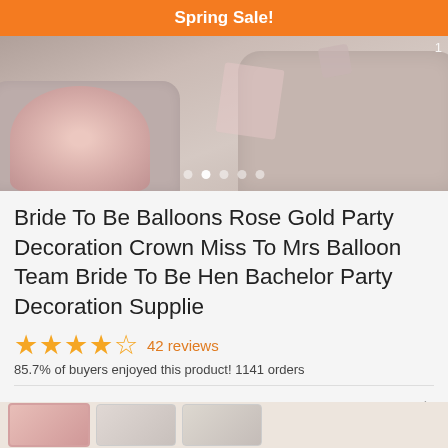Spring Sale!
[Figure (photo): Product listing photo showing a room interior with a bouquet of pink roses on a coffee table, gray tufted sofas, and decorative items in a bachelorette party setup. Carousel dots visible at the bottom.]
Bride To Be Balloons Rose Gold Party Decoration Crown Miss To Mrs Balloon Team Bride To Be Hen Bachelor Party Decoration Supplie
42 reviews
85.7% of buyers enjoyed this product! 1141 orders
Color:  1pcs 18inch round
[Figure (photo): Row of product color/variant thumbnail images at the bottom of the page]